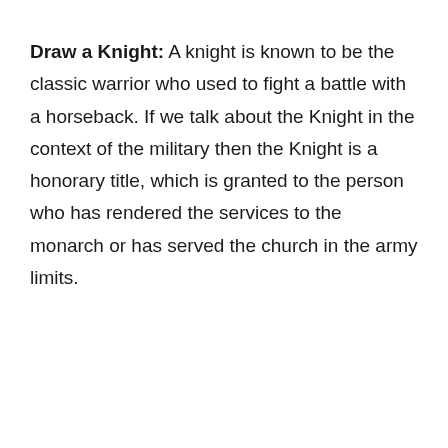Draw a Knight: A knight is known to be the classic warrior who used to fight a battle with a horseback. If we talk about the Knight in the context of the military then the Knight is a honorary title, which is granted to the person who has rendered the services to the monarch or has served the church in the army limits.